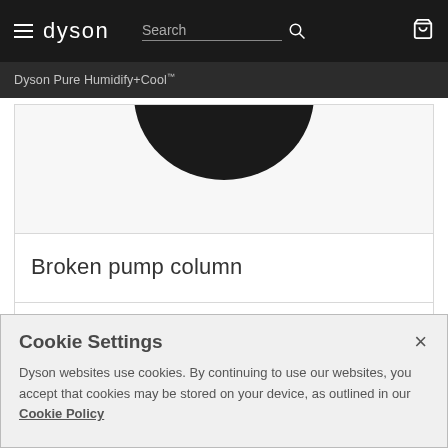dyson | Search
Dyson Pure Humidify+Cool™
[Figure (photo): Partial view of a Dyson product (dark circular top visible against white background)]
Broken pump column
Cookie Settings
Dyson websites use cookies. By continuing to use our websites, you accept that cookies may be stored on your device, as outlined in our Cookie Policy